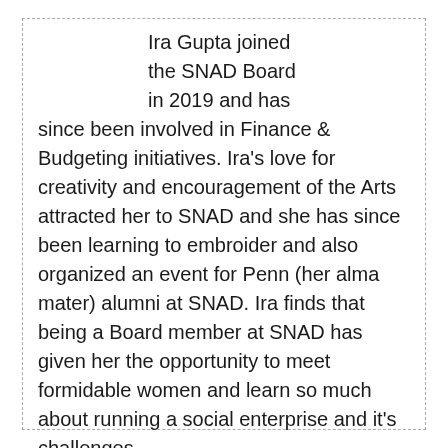Ira Gupta joined the SNAD Board in 2019 and has since been involved in Finance & Budgeting initiatives. Ira's love for creativity and encouragement of the Arts attracted her to SNAD and she has since been learning to embroider and also organized an event for Penn (her alma mater) alumni at SNAD. Ira finds that being a Board member at SNAD has given her the opportunity to meet formidable women and learn so much about running a social enterprise and it's challenges.